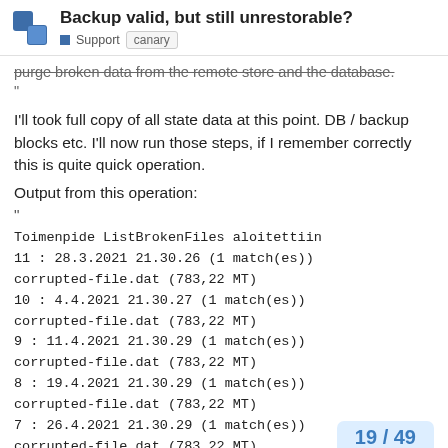Backup valid, but still unrestorable? Support canary
purge broken data from the remote store and the database.
"
I'll took full copy of all state data at this point. DB / backup blocks etc. I'll now run those steps, if I remember correctly this is quite quick operation.
Output from this operation:
"
Toimenpide ListBrokenFiles aloitettiin
11 : 28.3.2021 21.30.26 (1 match(es))
corrupted-file.dat (783,22 MT)
10 : 4.4.2021 21.30.27 (1 match(es))
corrupted-file.dat (783,22 MT)
9 : 11.4.2021 21.30.29 (1 match(es))
corrupted-file.dat (783,22 MT)
8 : 19.4.2021 21.30.29 (1 match(es))
corrupted-file.dat (783,22 MT)
7 : 26.4.2021 21.30.29 (1 match(es))
corrupted-file.dat (783,22 MT)
19 / 49